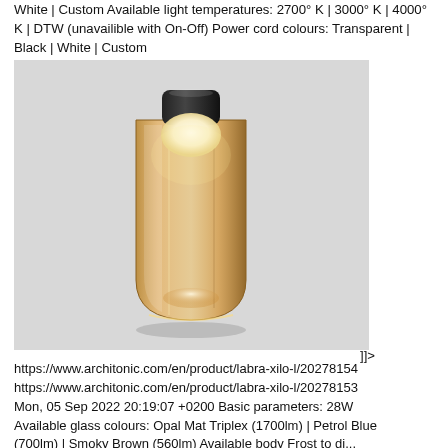White | Custom Available light temperatures: 2700° K | 3000° K | 4000° K | DTW (unavailible with On-Off) Power cord colours: Transparent | Black | White | Custom
[Figure (photo): Photograph of a pendant lamp with an amber/bronze colored cylindrical glass shade and a black top cap, glowing white globe bulb visible inside at top, photographed against a light gray background.]
]]> https://www.architonic.com/en/product/labra-xilo-l/20278154 https://www.architonic.com/en/product/labra-xilo-l/20278153 Mon, 05 Sep 2022 20:19:07 +0200 Basic parameters: 28W Available glass colours: Opal Mat Triplex (1700lm) | Petrol Blue (700lm) | Smoky Brown (560lm) Available body Frost to di...